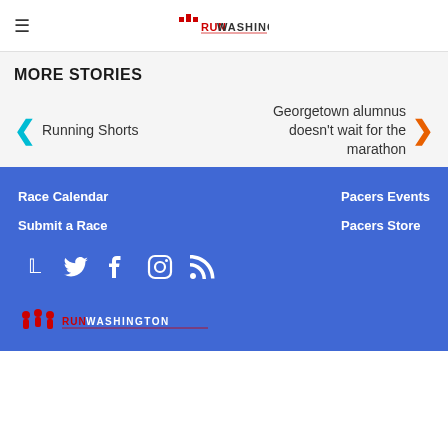Run Washington — site header with hamburger menu and logo
MORE STORIES
Running Shorts
Georgetown alumnus doesn't wait for the marathon
Race Calendar
Submit a Race
Pacers Events
Pacers Store
[Figure (logo): Run Washington logo repeated at bottom of footer on blue background]